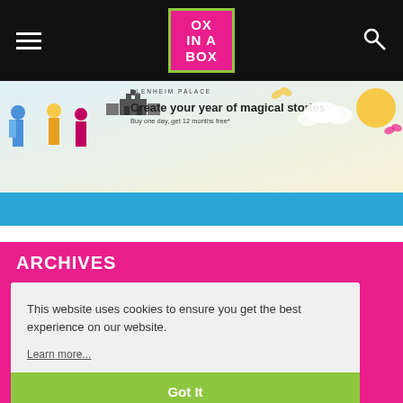OX IN A BOX
[Figure (illustration): Blenheim Palace advertisement banner: 'Create your year of magical stories. Buy one day, get 12 months free*']
This website uses cookies to ensure you get the best experience on our website. Learn more...
ARCHIVES
Got It
MARCH 2022